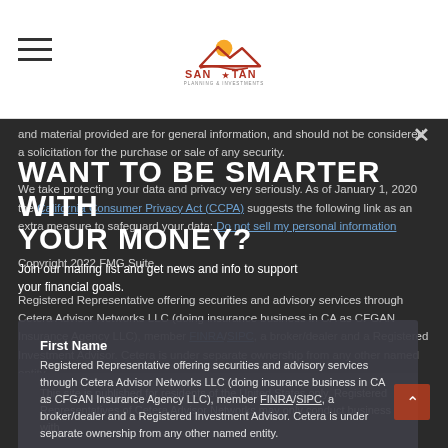[Figure (logo): San Tan Planning & Investments logo with orange sun/mountain graphic and star between SAN and TAN text]
and material provided are for general information, and should not be considered a solicitation for the purchase or sale of any security.
WANT TO BE SMARTER WITH YOUR MONEY?
Join our mailing list and get news and info to support your financial goals.
We take protecting your data and privacy very seriously. As of January 1, 2020 the California Consumer Privacy Act (CCPA) suggests the following link as an extra measure to safeguard your data: Do not sell my personal information
Copyright 2022 FMG Suite.
Registered Representative offering securities and advisory services through Cetera Advisor Networks LLC (doing insurance business in CA as CFGAN Insurance Agency LLC), member FINRA/SIPC, a broker/dealer and a Registered Investment Advisor. Cetera is under separate ownership from any other named entity.
First Name
Last Name
This site is published for residents of the United States only. Registered Representatives of Cetera Advisor Networks may only conduct business with residents of the states and/or jurisdictions in which they are properly registered.